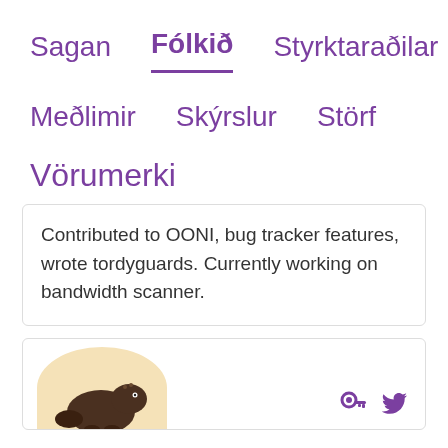Sagan  Fólkið  Styrktaraðilar
Meðlimir  Skýrslur  Störf
Vörumerki
Contributed to OONI, bug tracker features, wrote tordyguards. Currently working on bandwidth scanner.
[Figure (illustration): Bottom of a card showing an illustration of a small animal (beaver or similar) on a cream-colored oval background, with a purple bird/key icon and a Twitter bird icon in the lower right corner.]